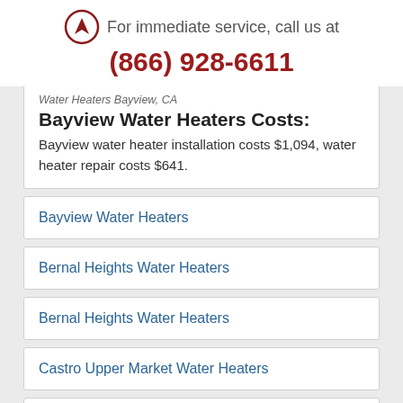[Figure (logo): Circular logo with arrow/navigation icon in dark red]
For immediate service, call us at
(866) 928-6611
Water Heaters Bayview, CA
Bayview Water Heaters Costs:
Bayview water heater installation costs $1,094, water heater repair costs $641.
Bayview Water Heaters
Bernal Heights Water Heaters
Bernal Heights Water Heaters
Castro Upper Market Water Heaters